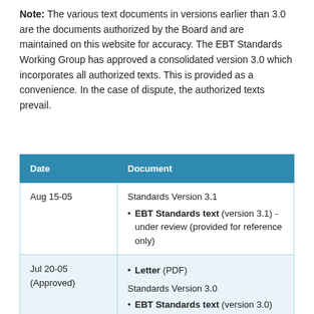Note: The various text documents in versions earlier than 3.0 are the documents authorized by the Board and are maintained on this website for accuracy. The EBT Standards Working Group has approved a consolidated version 3.0 which incorporates all authorized texts. This is provided as a convenience. In the case of dispute, the authorized texts prevail.
| Date | Document |
| --- | --- |
| Aug 15-05 | Standards Version 3.1
• EBT Standards text (version 3.1) - under review (provided for reference only) |
| Jul 20-05
(Approved) | • Letter (PDF)
Standards Version 3.0
• EBT Standards text (version 3.0) |